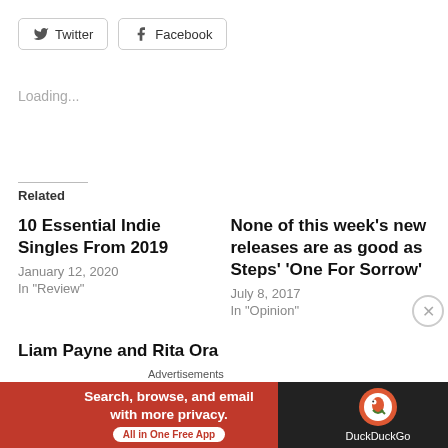[Figure (other): Twitter and Facebook social share buttons]
Loading...
Related
10 Essential Indie Singles From 2019
January 12, 2020
In "Review"
None of this week's new releases are as good as Steps' 'One For Sorrow'
July 8, 2017
In "Opinion"
Liam Payne and Rita Ora get frisky on 'For You' – Review
January 5, 2018
Advertisements
[Figure (other): DuckDuckGo advertisement banner: Search, browse, and email with more privacy. All in One Free App]